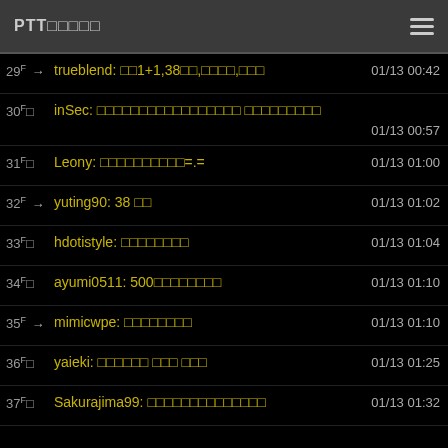PTT□□□□□
29F → trueblend: □□1+1,38□□,□□□□,□□□  01/13 00:42
30F□  inSec: □□□□□□□□□□□□□□□□□ □□□□□□□□□  01/13 00:57
31F□  Leony: □□□□□□□□□□=.=  01/13 01:00
32F → yuting90: 38 □□  01/13 01:02
33F□  hdotistyle: □□□□□□□□  01/13 01:04
34F□  ayumi0511: 500□□□□□□□□  01/13 01:10
35F → mimicwpe: □□□□□□□□  01/13 01:10
36F□  yaieki: □□□□□□ □□□ □□□  01/13 01:25
37F□  Sakurajima99: □□□□□□□□□□□□□□  01/13 01:32